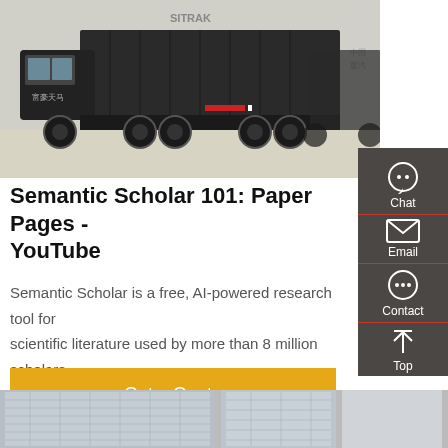[Figure (photo): A large black SITRAK dump truck parked in a yard, side profile view, with Chinese branding visible on the cab and additional trucks in the background.]
Semantic Scholar 101: Paper Pages - YouTube
Semantic Scholar is a free, AI-powered research tool for scientific literature used by more than 8 million scholars globally. With nearly 200 million papers
Get a Quote
[Figure (photo): Bottom strip showing partial views of buildings/construction photos.]